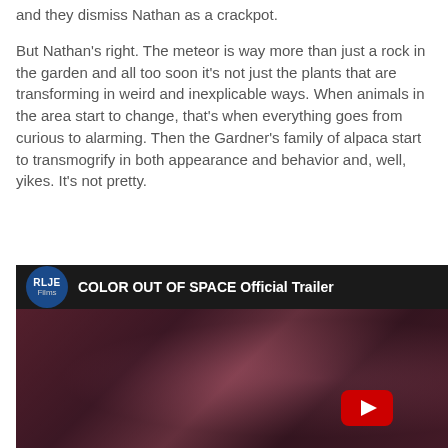and they dismiss Nathan as a crackpot.
But Nathan's right. The meteor is way more than just a rock in the garden and all too soon it's not just the plants that are transforming in weird and inexplicable ways. When animals in the area start to change, that's when everything goes from curious to alarming. Then the Gardner's family of alpaca start to transmogrify in both appearance and behavior and, well, yikes. It's not pretty.
[Figure (screenshot): YouTube video embed showing 'COLOR OUT OF SPACE Official Trailer' by RLJE Films. The thumbnail shows a close-up of a person's face with reddish-purple tones. A YouTube play button is visible in the lower center-right of the thumbnail.]